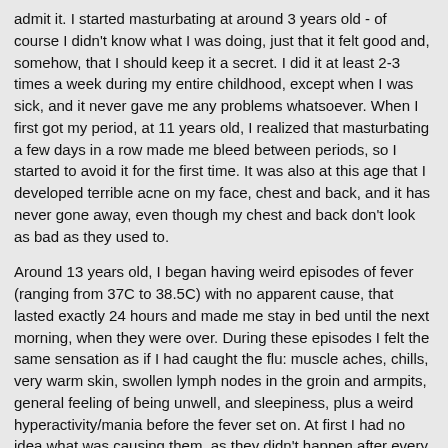admit it. I started masturbating at around 3 years old - of course I didn't know what I was doing, just that it felt good and, somehow, that I should keep it a secret. I did it at least 2-3 times a week during my entire childhood, except when I was sick, and it never gave me any problems whatsoever. When I first got my period, at 11 years old, I realized that masturbating a few days in a row made me bleed between periods, so I started to avoid it for the first time. It was also at this age that I developed terrible acne on my face, chest and back, and it has never gone away, even though my chest and back don't look as bad as they used to.
Around 13 years old, I began having weird episodes of fever (ranging from 37C to 38.5C) with no apparent cause, that lasted exactly 24 hours and made me stay in bed until the next morning, when they were over. During these episodes I felt the same sensation as if I had caught the flu: muscle aches, chills, very warm skin, swollen lymph nodes in the groin and armpits, general feeling of being unwell, and sleepiness, plus a weird hyperactivity/mania before the fever set on. At first I had no idea what was causing them, as they didn't happen after every orgasm, just sometimes. I believe there was a build-up pattern happening: many O's in a row, or in consecutive/close days, made it more likely for the symptoms to appear.
There is another interesting symptom that appeared at this age and stayed with me forever, even when I'm not sick with POIS. I can't lay on my left side for too long, or else I get a very intense sharp pain in a